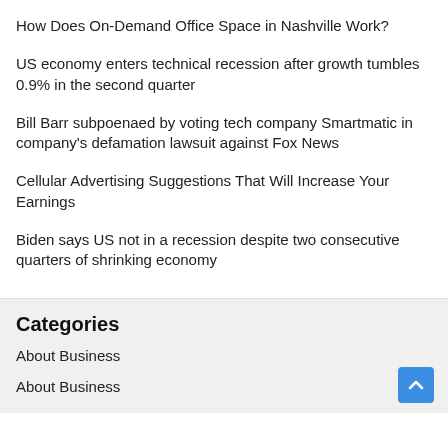How Does On-Demand Office Space in Nashville Work?
US economy enters technical recession after growth tumbles 0.9% in the second quarter
Bill Barr subpoenaed by voting tech company Smartmatic in company’s defamation lawsuit against Fox News
Cellular Advertising Suggestions That Will Increase Your Earnings
Biden says US not in a recession despite two consecutive quarters of shrinking economy
Categories
About Business
About Business